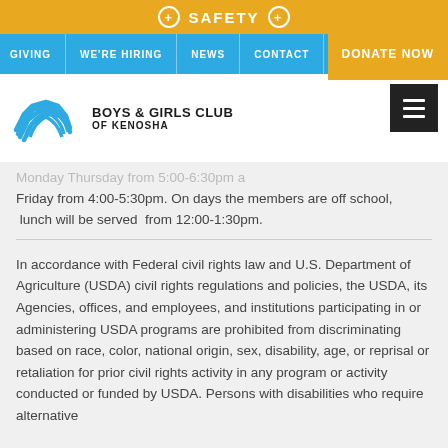+ SAFETY +
GIVING | WE'RE HIRING | NEWS | CONTACT | DONATE NOW
[Figure (logo): Boys & Girls Club of Kenosha logo with blue hands icon]
Monday Thursday from 5:00-6:30pm and Friday from 4:00-5:30pm. On days the members are off school, lunch will be served from 12:00-1:30pm.
In accordance with Federal civil rights law and U.S. Department of Agriculture (USDA) civil rights regulations and policies, the USDA, its Agencies, offices, and employees, and institutions participating in or administering USDA programs are prohibited from discriminating based on race, color, national origin, sex, disability, age, or reprisal or retaliation for prior civil rights activity in any program or activity conducted or funded by USDA. Persons with disabilities who require alternative